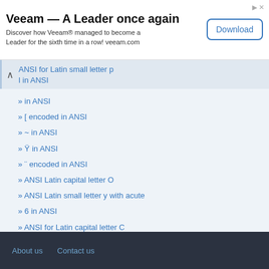[Figure (other): Advertisement banner: Veeam — A Leader once again. Discover how Veeam® managed to become a Leader for the sixth time in a row! veeam.com. Download button.]
ANSI for Latin small letter p
l in ANSI
in ANSI
[ encoded in ANSI
~ in ANSI
Ÿ in ANSI
¨ encoded in ANSI
ANSI Latin capital letter O
ANSI Latin small letter y with acute
6 in ANSI
ANSI for Latin capital letter C
l in ANSI
About us   Contact us